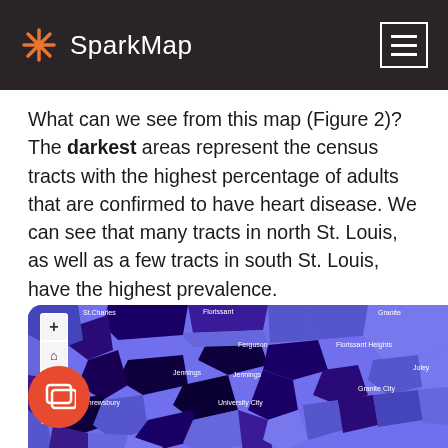SparkMap
What can we see from this map (Figure 2)? The darkest areas represent the census tracts with the highest percentage of adults that are confirmed to have heart disease. We can see that many tracts in north St. Louis, as well as a few tracts in south St. Louis, have the highest prevalence.
[Figure (map): Choropleth map showing census tracts in the St. Louis metro area colored in varying shades of purple/blue, with darker areas indicating higher prevalence of heart disease. Visible city labels include St. Charles, Florissant, Ferguson, Jennings, Granite City, University City, Shrewsbury. Map includes zoom controls (+/-) and home button on the left side.]